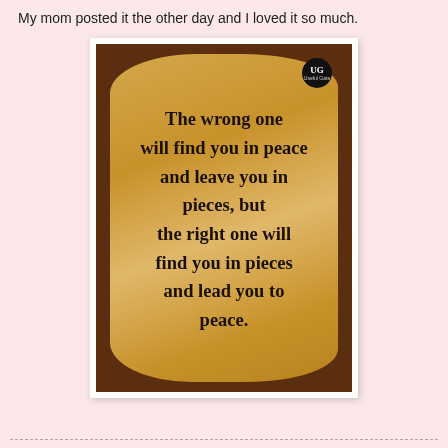My mom posted it the other day and I loved it so much.
[Figure (photo): A decorative image showing a motivational quote printed on a parchment-style scroll overlaid on a wooden background. The quote reads: 'The wrong one will find you in peace and leave you in pieces, but the right one will find you in pieces and lead you to peace.' A small 'UG' logo circle appears in the top right corner of the image.]